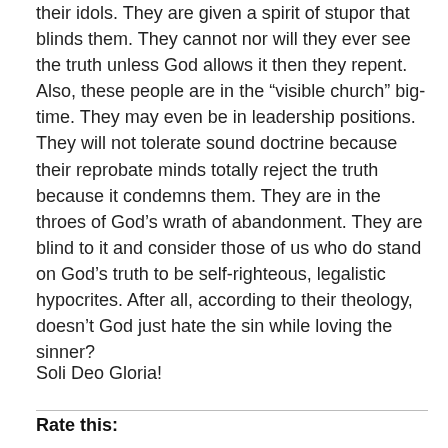their idols. They are given a spirit of stupor that blinds them. They cannot nor will they ever see the truth unless God allows it then they repent. Also, these people are in the “visible church” big-time. They may even be in leadership positions. They will not tolerate sound doctrine because their reprobate minds totally reject the truth because it condemns them. They are in the throes of God’s wrath of abandonment. They are blind to it and consider those of us who do stand on God’s truth to be self-righteous, legalistic hypocrites. After all, according to their theology, doesn’t God just hate the sin while loving the sinner?
Soli Deo Gloria!
Rate this: